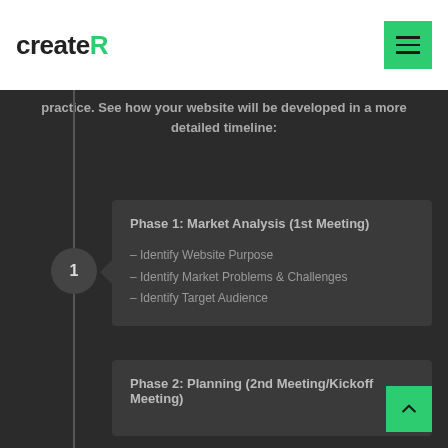createR
practice. See how your website will be developed in a more detailed timeline:
Phase 1: Market Analysis (1st Meeting)
– Identify Website Purpose
– Identify Market Problems & Challenges
– Identify Target Audience
Phase 2: Planning (2nd Meeting/Kickoff Meeting)